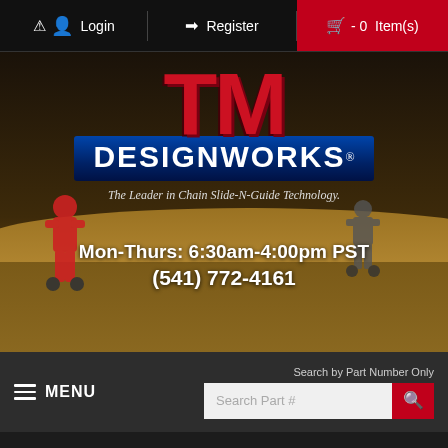Login  Register  - 0  Item(s)
[Figure (logo): TM Designworks logo with motocross riders and dirt track background. Red TM letters above blue DESIGNWORKS banner. Tagline: The Leader in Chain Slide-N-Guide Technology. Hours: Mon-Thurs: 6:30am-4:00pm PST, (541) 772-4161]
MENU
Search by Part Number Only
FREE SHIPPING ON ORDERS OVER $100*
Dealer Free Shipping $150*
UPS Express orders will ship the same or next business day*